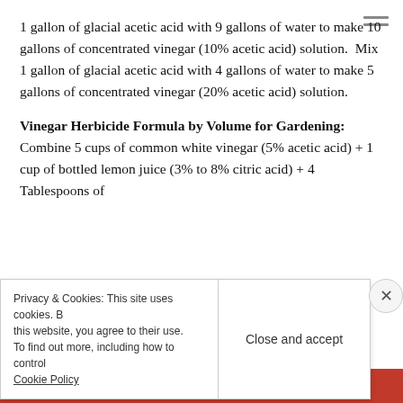1 gallon of glacial acetic acid with 9 gallons of water to make 10 gallons of concentrated vinegar (10% acetic acid) solution.  Mix 1 gallon of glacial acetic acid with 4 gallons of water to make 5 gallons of concentrated vinegar (20% acetic acid) solution.
Vinegar Herbicide Formula by Volume for Gardening:    Combine 5 cups of common white vinegar (5% acetic acid) + 1 cup of bottled lemon juice (3% to 8% citric acid) + 4 Tablespoons of
Privacy & Cookies: This site uses cookies. By continuing to use this website, you agree to their use. To find out more, including how to control cookies, see here: Cookie Policy
Close and accept
DuckDuckGo